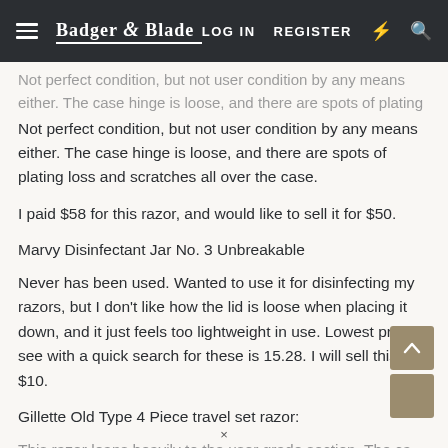Badger & Blade — LOG IN | REGISTER
Not perfect condition, but not user condition by any means either. The case hinge is loose, and there are spots of plating loss and scratches all over the case.
I paid $58 for this razor, and would like to sell it for $50.
Marvy Disinfectant Jar No. 3 Unbreakable
Never has been used. Wanted to use it for disinfecting my razors, but I don't like how the lid is loose when placing it down, and it just feels too lightweight in use. Lowest price I see with a quick search for these is 15.28. I will sell this for $10.
Gillette Old Type 4 Piece travel set razor:
This razor leans heavily to the user grade section. The ca…